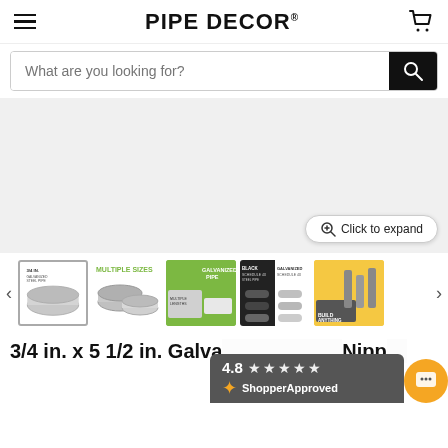PIPE DECOR®
[Figure (screenshot): Search bar with placeholder text 'What are you looking for?' and black search button]
[Figure (photo): Large main product image area showing galvanized steel pipe, light grey background with 'Click to expand' button]
[Figure (photo): Thumbnail gallery row with 5 product thumbnails showing galvanized steel pipe in various configurations]
3/4 in. x 5 1/2 in. Galvanized Nipple